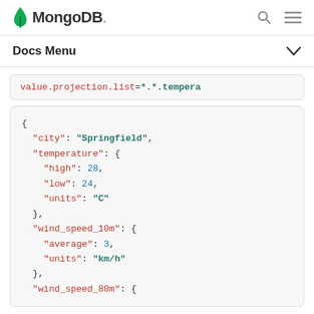MongoDB - Docs Menu
value.projection.list=*.*.tempera
{
  "city": "Springfield",
  "temperature": {
    "high": 28,
    "low": 24,
    "units": "C"
  },
  "wind_speed_10m": {
    "average": 3,
    "units": "km/h"
  },
  "wind_speed_80m": {